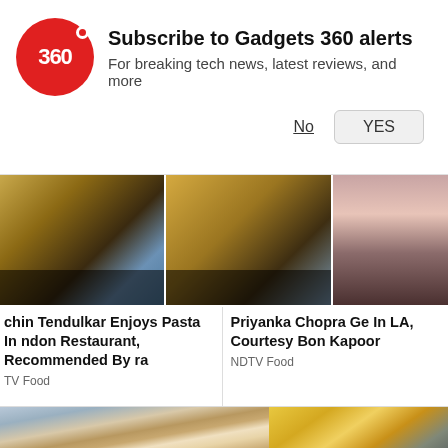[Figure (logo): Gadgets 360 red circle logo with '360' text]
Subscribe to Gadgets 360 alerts
For breaking tech news, latest reviews, and more
No   YES
[Figure (screenshot): Two food video screenshots showing pasta in a pan]
[Figure (photo): Portrait of a woman, partially visible]
chin Tendulkar Enjoys Pasta In ndon Restaurant, Recommended By ra
TV Food
Priyanka Chopra Ge In LA, Courtesy Bor Kapoor
NDTV Food
[Figure (photo): Elderly man in a corridor, speaking]
[Figure (screenshot): TV showing galaxy/space wallpaper with red play button overlay]
[Figure (photo): Yellow/banana related image, partially visible]